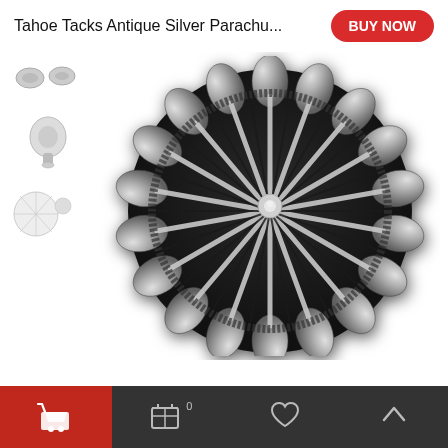Tahoe Tacks Antique Silver Parachu...
[Figure (photo): Close-up photo of an antique silver parachute concho with scalloped edges and radiating ridges from center, dark oxidized background texture]
[Figure (photo): Thumbnail images of product views: top view of small tacks, side/profile view of concho, back view showing post/attachment]
Tahoe Tacks Antique Silver
Shopping cart icon, Cart with 0 badge, Heart/wishlist icon, Up arrow icon